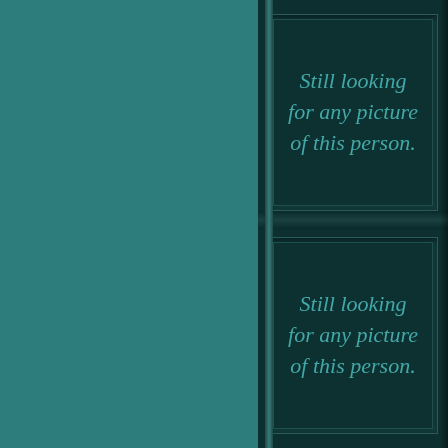[Figure (illustration): Left panel: solid teal/dark cyan background panel occupying the left portion of the page.]
[Figure (photo): Top right photo placeholder slot with italic text reading 'Still looking for any picture of this person.' in teal color on dark background.]
[Figure (photo): Bottom right photo placeholder slot with italic text reading 'Still looking for any picture of this person.' in teal color on dark background.]